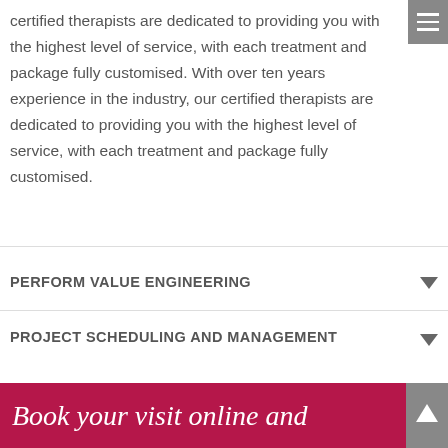certified therapists are dedicated to providing you with the highest level of service, with each treatment and package fully customised. With over ten years experience in the industry, our certified therapists are dedicated to providing you with the highest level of service, with each treatment and package fully customised.
PERFORM VALUE ENGINEERING
PROJECT SCHEDULING AND MANAGEMENT
Book your visit online and